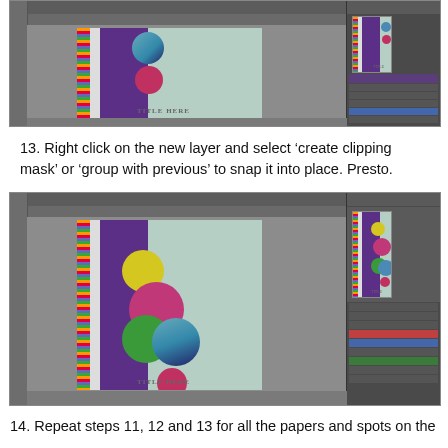[Figure (screenshot): Photoshop screenshot showing a scrapbook layout with purple strip, rainbow border, circular photos, and 'TITLE HERE' text, with layers panel on right]
13. Right click on the new layer and select ‘create clipping mask’ or ‘group with previous’ to snap it into place. Presto.
[Figure (screenshot): Photoshop screenshot showing the scrapbook layout with additional circular photo spots filled with colors (pink, green, yellow circles) and photos, with layers panel on right]
14. Repeat steps 11, 12 and 13 for all the papers and spots on the